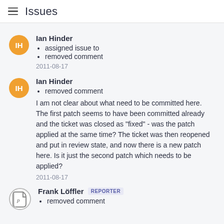Issues
Ian Hinder
assigned issue to
removed comment
2011-08-17
Ian Hinder
removed comment
I am not clear about what need to be committed here. The first patch seems to have been committed already and the ticket was closed as "fixed" - was the patch applied at the same time? The ticket was then reopened and put in review state, and now there is a new patch here. Is it just the second patch which needs to be applied?
2011-08-17
Frank Löffler
removed comment